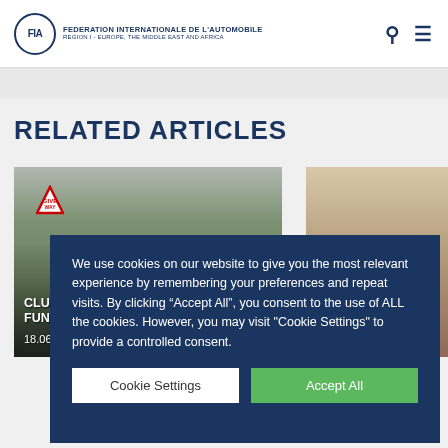FIA - FEDERATION INTERNATIONALE DE L'AUTOMOBILE - REGION I - EUROPE, THE MIDDLE EAST AND AFRICA
RELATED ARTICLES
[Figure (photo): Road accident scene with workers in hi-vis vests, overturned vehicle, and a Give Way sign. Headline: CLUB NEWS: RAC ... FUNDS TO PILOT C... Date: 18.06.18]
[Figure (photo): Partially visible image, blurred indoor scene with warm tones]
We use cookies on our website to give you the most relevant experience by remembering your preferences and repeat visits. By clicking “Accept All”, you consent to the use of ALL the cookies. However, you may visit "Cookie Settings" to provide a controlled consent.
Cookie Settings | Accept All